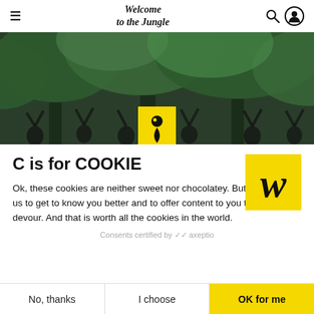Welcome to the Jungle
[Figure (photo): Hero image showing people with raised hands under trees, with a yellow logo box at the bottom center containing a teardrop/pin icon]
C is for COOKIE
[Figure (logo): Welcome to the Jungle logo - yellow square with bold italic W in black]
Ok, these cookies are neither sweet nor chocolatey. But they allow us to get to know you better and to offer content to you that you will devour. And that is worth all the cookies in the world.
Consents certified by axeptio
No, thanks | I choose | OK for me